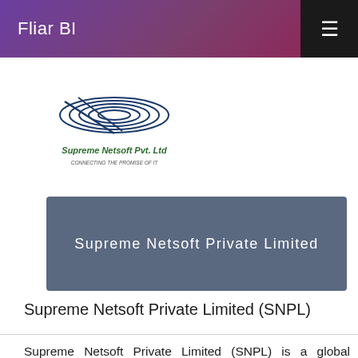Fliar BI
[Figure (logo): Supreme Netsoft Pvt. Ltd company logo with circular wave design and text 'Supreme Netsoft Pvt. Ltd']
Supreme Netsoft Private Limited
Supreme Netsoft Private Limited (SNPL)
Supreme Netsoft Private Limited (SNPL) is a global information technology solutions company that provides Staff Augmentation, Strategic Consulting, Application Development and Business Process Outsourcing to technology providers and enterprises globally. Hyderabad, India, based erp company Supreme Netsoft Private Limited founded by